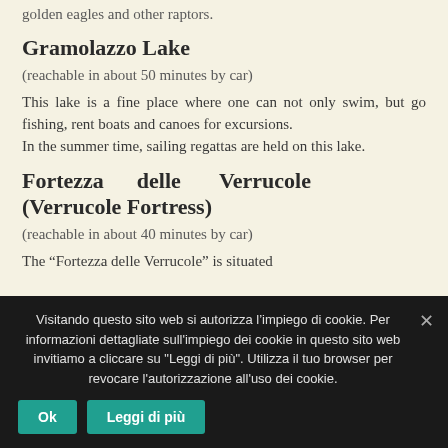golden eagles and other raptors.
Gramolazzo Lake
(reachable in about 50 minutes by car)
This lake is a fine place where one can not only swim, but go fishing, rent boats and canoes for excursions.
In the summer time, sailing regattas are held on this lake.
Fortezza delle Verrucole (Verrucole Fortress)
(reachable in about 40 minutes by car)
The “Fortezza delle Verrucole” is situated
Visitando questo sito web si autorizza l’impiego di cookie. Per informazioni dettagliate sull'impiego dei cookie in questo sito web invitiamo a cliccare su "Leggi di più". Utilizza il tuo browser per revocare l'autorizzazione all'uso dei cookie.